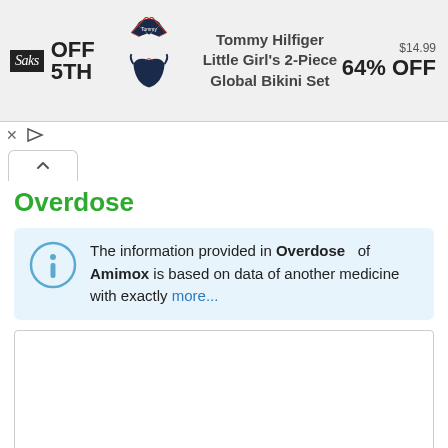[Figure (screenshot): Saks Off 5th advertisement banner showing Tommy Hilfiger Little Girl's 2-Piece Global Bikini Set at $14.99, 64% OFF]
Overdose
The information provided in Overdose of Amimox is based on data of another medicine with exactly more...